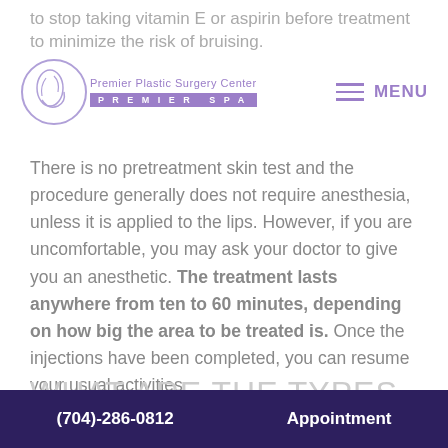to stop taking vitamin E or aspirin before treatment to minimize the risk of bruising.
[Figure (logo): Premier Plastic Surgery Center Premier Spa logo with circular hand/face graphic and purple text]
There is no pretreatment skin test and the procedure generally does not require anesthesia, unless it is applied to the lips. However, if you are uncomfortable, you may ask your doctor to give you an anesthetic. The treatment lasts anywhere from ten to 60 minutes, depending on how big the area to be treated is. Once the injections have been completed, you can resume your usual activities
WHAT ARE THE TYPES OF
(704)-286-0812   Appointment